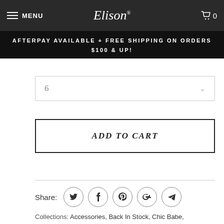MENU | Elison® | 0
AFTERPAY AVAILABLE + FREE SHIPPING ON ORDERS $100 & UP!
6
ADD TO CART
Share:
Collections: Accessories, Back In Stock, Chic Babe, DISCOUNT COLLECTION, Holiday, Mother's Day